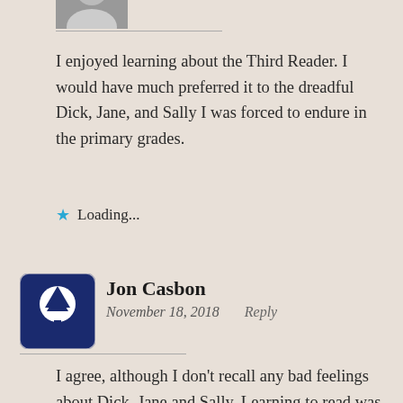[Figure (photo): Partial view of a user avatar photo at top of page]
I enjoyed learning about the Third Reader. I would have much preferred it to the dreadful Dick, Jane, and Sally I was forced to endure in the primary grades.
Loading...
[Figure (logo): Jon Casbon profile avatar: blue square with white tree icon]
Jon Casbon
November 18, 2018    Reply
I agree, although I don't recall any bad feelings about Dick, Jane and Sally. Learning to read was such a journey of discovery – I only have